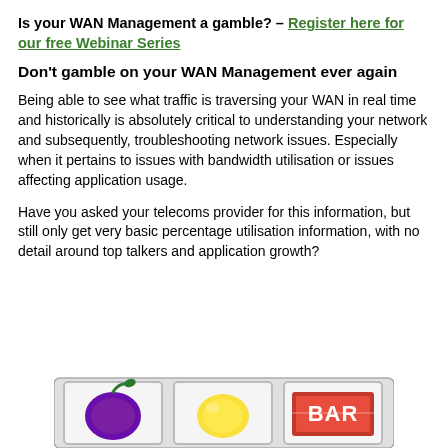Is your WAN Management a gamble? – Register here for our free Webinar Series
Don't gamble on your WAN Management ever again
Being able to see what traffic is traversing your WAN in real time and historically is absolutely critical to understanding your network and subsequently, troubleshooting network issues. Especially when it pertains to issues with bandwidth utilisation or issues affecting application usage.
Have you asked your telecoms provider for this information, but still only get very basic percentage utilisation information, with no detail around top talkers and application growth?
[Figure (photo): Slot machine reels showing a plum, lemon, and BAR symbol, partially cropped at the bottom of the page.]